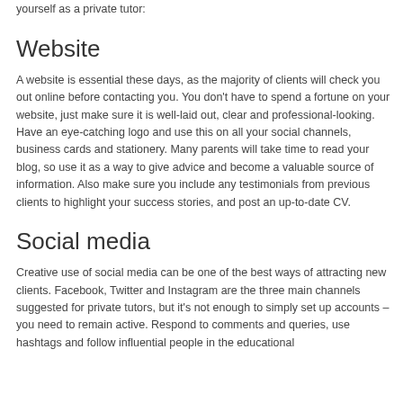achieve if you know how. Here are a few tips on how to best market yourself as a private tutor:
Website
A website is essential these days, as the majority of clients will check you out online before contacting you. You don't have to spend a fortune on your website, just make sure it is well-laid out, clear and professional-looking. Have an eye-catching logo and use this on all your social channels, business cards and stationery. Many parents will take time to read your blog, so use it as a way to give advice and become a valuable source of information. Also make sure you include any testimonials from previous clients to highlight your success stories, and post an up-to-date CV.
Social media
Creative use of social media can be one of the best ways of attracting new clients. Facebook, Twitter and Instagram are the three main channels suggested for private tutors, but it's not enough to simply set up accounts – you need to remain active. Respond to comments and queries, use hashtags and follow influential people in the educational